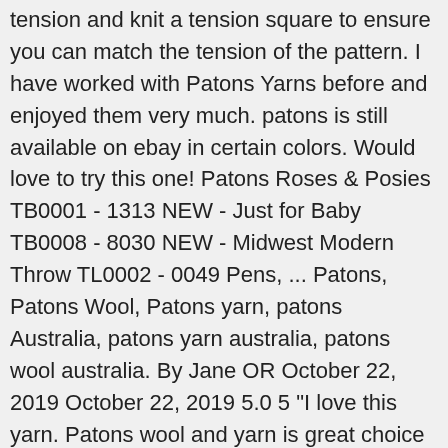tension and knit a tension square to ensure you can match the tension of the pattern. I have worked with Patons Yarns before and enjoyed them very much. patons is still available on ebay in certain colors. Would love to try this one! Patons Roses & Posies TB0001 - 1313 NEW - Just for Baby TB0008 - 8030 NEW - Midwest Modern Throw TL0002 - 0049 Pens, ... Patons, Patons Wool, Patons yarn, patons Australia, patons yarn australia, patons wool australia. By Jane OR October 22, 2019 October 22, 2019 5.0 5 "I love this yarn. Patons wool and yarn is great choice for staple, trusty knitting and crochet yarns! Sort by. I use it to make breast prosthetics for Knitted Knockers.org (I crochet mine). Refine by Product Line: Patons Lincoln Fog; Refine by Product Line: Shetland Chunky Tweed; Refine by Product Line: Slik Bamboo; Fiber Refine by Fiber: Blend; Made For Refine by Made For: Women; Our Patons Silk Bamboo Patterns Collection Filter Sort By: Go. CYBER MONDAY! The best way to figure out if a yarn substitution will work is to swatch it out and give it a try. All in one place. Hi, I'm Janne! You can even make a new wardrobe for your little ones with the Baby